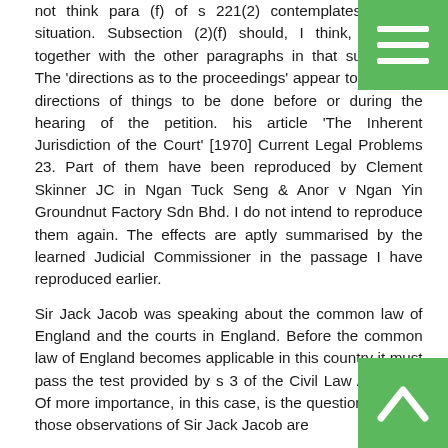not think para (f) of s 221(2) contemplates such a situation. Subsection (2)(f) should, I think, be read together with the other paragraphs in that subsection. The 'directions as to the proceedings' appear to me to be directions of things to be done before or during the hearing of the petition. his article 'The Inherent Jurisdiction of the Court' [1970] Current Legal Problems 23. Part of them have been reproduced by Clement Skinner JC in Ngan Tuck Seng & Anor v Ngan Yin Groundnut Factory Sdn Bhd. I do not intend to reproduce them again. The effects are aptly summarised by the learned Judicial Commissioner in the passage I have reproduced earlier.
Sir Jack Jacob was speaking about the common law of England and the courts in England. Before the common law of England becomes applicable in this country it must pass the test provided by s 3 of the Civil Law Act 1956. Of more importance, in this case, is the question whether those observations of Sir Jack Jacob are